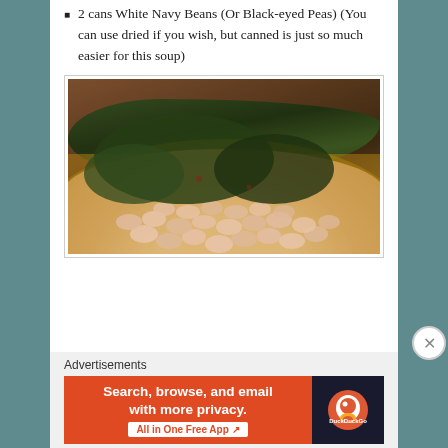2 cans White Navy Beans (Or Black-eyed Peas) (You can use dried if you wish, but canned is just so much easier for this soup)
[Figure (photo): A pot of soup containing white navy beans in broth with dark cooked leafy greens (collards or kale), viewed from above]
Advertisements
[Figure (screenshot): DuckDuckGo advertisement banner: orange left panel reading 'Search, browse, and email with more privacy. All in One Free App' and dark right panel with DuckDuckGo logo]